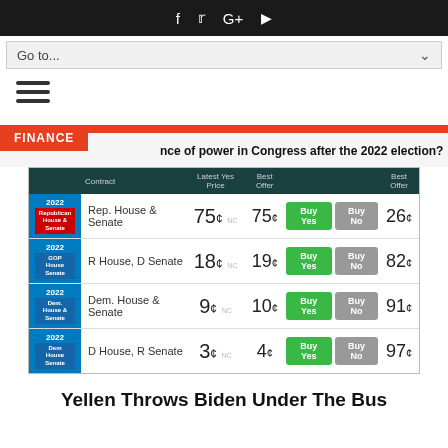f  t  G+  (youtube icon)
[Figure (screenshot): Navigation dropdown bar with 'Go to...' label and chevron]
[Figure (other): Hamburger menu icon (three horizontal lines)]
| Contract | Latest Yes Price | Best Offer |  | Best Offer |
| --- | --- | --- | --- | --- |
| Rep. House & Senate | 75¢ NC | 75¢ | Buy Yes  Buy No | 26¢ |
| R House, D Senate | 18¢ NC | 19¢ | Buy Yes  Buy No | 82¢ |
| Dem. House & Senate | 9¢ NC | 10¢ | Buy Yes  Buy No | 91¢ |
| D House, R Senate | 3¢ NC | 4¢ | Buy Yes  Buy No | 97¢ |
Yellen Throws Biden Under The Bus